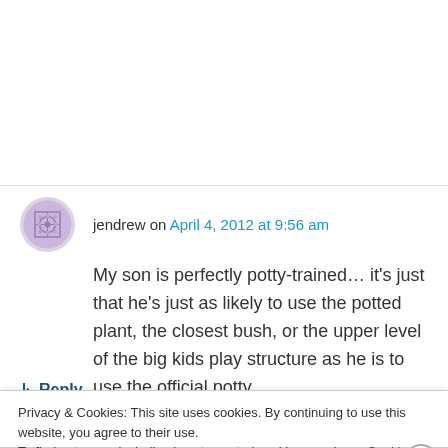jendrew on April 4, 2012 at 9:56 am
My son is perfectly potty-trained… it's just that he's just as likely to use the potted plant, the closest bush, or the upper level of the big kids play structure as he is to use the official potty….
↳ Reply
Privacy & Cookies: This site uses cookies. By continuing to use this website, you agree to their use.
To find out more, including how to control cookies, see here: Cookie Policy
Close and accept